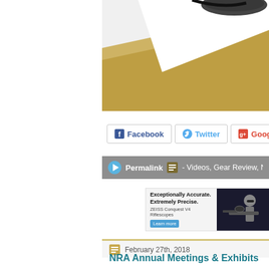[Figure (photo): Partial photo showing a gun scope/scope barrel on a golden/tan surface with white background — appears to be a riflescope product image cropped at the top]
[Figure (screenshot): Social sharing buttons: Facebook, Twitter, Google+]
Permalink  - Videos, Gear Review, New Products
[Figure (photo): ZEISS Conquest V4 Riflescopes advertisement banner — 'Exceptionally Accurate. Extremely Precise. ZEISS Conquest V4 Riflescopes. Learn more' with shooter photo]
February 27th, 2018
NRA Annual Meetings & Exhibits